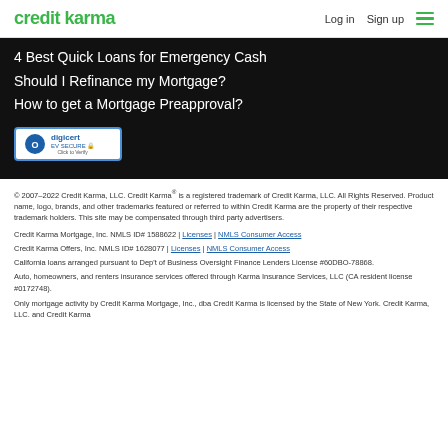credit karma | Log in | Sign up
4 Best Quick Loans for Emergency Cash
Should I Refinance my Mortgage?
How to get a Mortgage Preapproval?
[Figure (logo): DigiCert EV SECURE badge]
© 2007-2022 Credit Karma, LLC. Credit Karma® is a registered trademark of Credit Karma, LLC. All Rights Reserved. Product name, logo, brands, and other trademarks featured or referred to within Credit Karma are the property of their respective trademark holders. This site may be compensated through third party advertisers.
Credit Karma Mortgage, Inc. NMLS ID# 1588622 | Licenses | NMLS Consumer Access
Credit Karma Offers, Inc. NMLS ID# 1628077 | Licenses | NMLS Consumer Access
California loans arranged pursuant to Dep't of Business Oversight Finance Lenders License #60DBO-78868.
Auto, homeowners, and renters insurance services offered through Karma Insurance Services, LLC (CA resident license #0172748).
Only mortgage activity by Credit Karma Mortgage, Inc., dba Credit Karma is licensed by the State of New York. Credit Karma, LLC. and Credit Karma